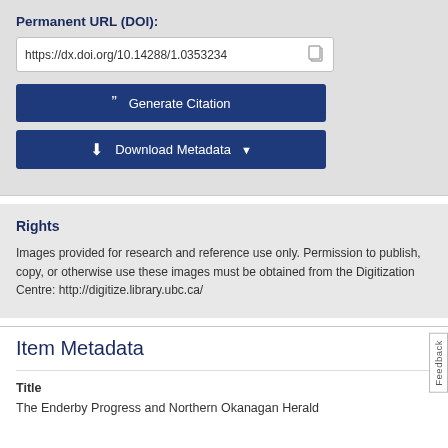Permanent URL (DOI):
https://dx.doi.org/10.14288/1.0353234
Generate Citation
Download Metadata
Rights
Images provided for research and reference use only. Permission to publish, copy, or otherwise use these images must be obtained from the Digitization Centre: http://digitize.library.ubc.ca/
Item Metadata
Title
The Enderby Progress and Northern Okanagan Herald